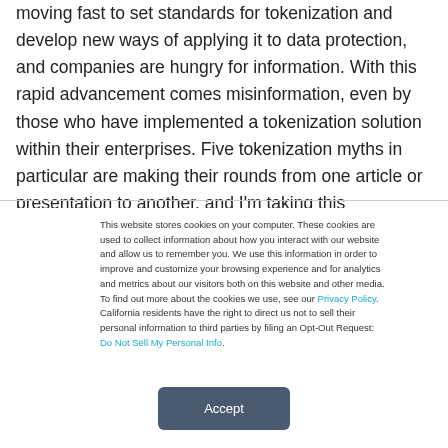moving fast to set standards for tokenization and develop new ways of applying it to data protection, and companies are hungry for information. With this rapid advancement comes misinformation, even by those who have implemented a tokenization solution within their enterprises. Five tokenization myths in particular are making their rounds from one article or presentation to another, and I'm taking this opportunity to set
This website stores cookies on your computer. These cookies are used to collect information about how you interact with our website and allow us to remember you. We use this information in order to improve and customize your browsing experience and for analytics and metrics about our visitors both on this website and other media. To find out more about the cookies we use, see our Privacy Policy. California residents have the right to direct us not to sell their personal information to third parties by filing an Opt-Out Request: Do Not Sell My Personal Info.
Accept